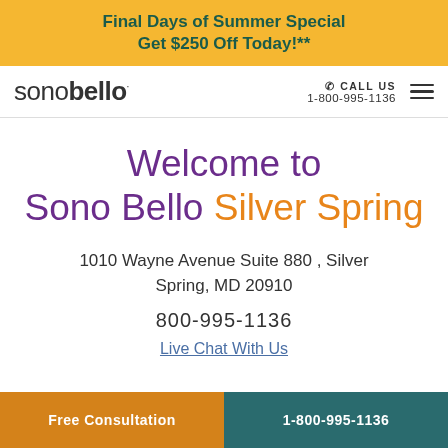Final Days of Summer Special
Get $250 Off Today!**
[Figure (logo): Sono Bello logo with call us info and hamburger menu]
Welcome to Sono Bello Silver Spring
1010 Wayne Avenue Suite 880 , Silver Spring, MD 20910
800-995-1136
Live Chat With Us
Free Consultation | 1-800-995-1136